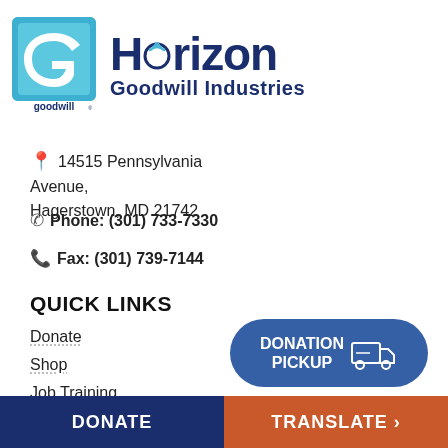[Figure (logo): Horizon Goodwill Industries logo with goodwill square icon and text]
14515 Pennsylvania Avenue, Hagerstown, MD 21742
Phone: (301) 733-7330
Fax: (301) 739-7144
QUICK LINKS
Donate
Shop
Job Training
[Figure (illustration): Donation Pickup button with truck icon]
DONATE   TRANSLATE >